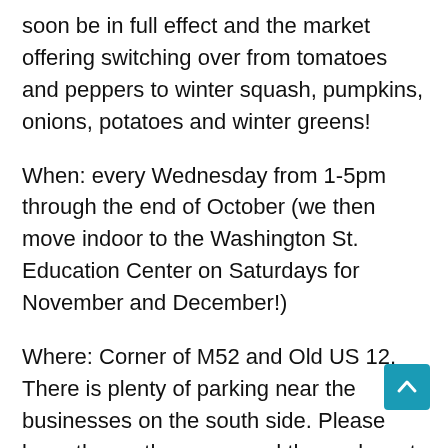soon be in full effect and the market offering switching over from tomatoes and peppers to winter squash, pumpkins, onions, potatoes and winter greens!
When: every Wednesday from 1-5pm through the end of October (we then move indoor to the Washington St. Education Center on Saturdays for November and December!)
Where: Corner of M52 and Old US 12. There is plenty of parking near the businesses on the south side. Please keep the north spaces and those closest to the bank open for bank patrons.
Who: Lovely humans working to steward healthy community!